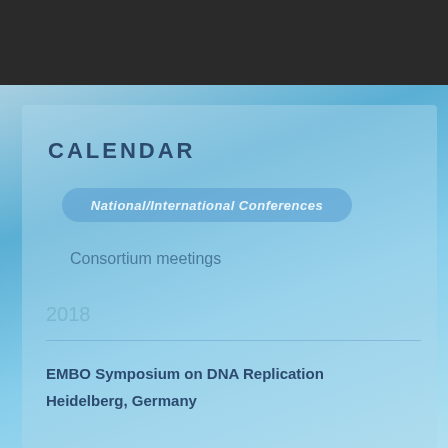CALENDAR
National/International Conferences
Consortium meetings
2018
EMBO Symposium on DNA Replication
Heidelberg, Germany